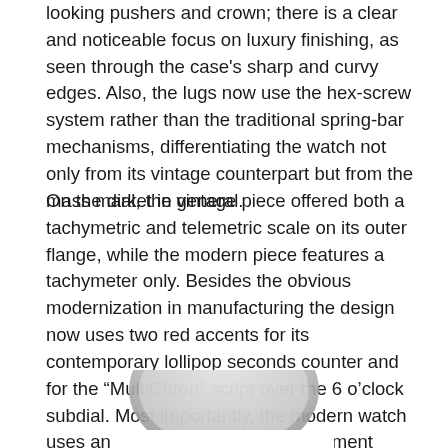looking pushers and crown; there is a clear and noticeable focus on luxury finishing, as seen through the case's sharp and curvy edges. Also, the lugs now use the hex-screw system rather than the traditional spring-bar mechanisms, differentiating the watch not only from its vintage counterpart but from the mass market in general.
On the dial, the vintage piece offered both a tachymetric and telemetric scale on its outer flange, while the modern piece features a tachymeter only. Besides the obvious modernization in manufacturing the design now uses two red accents for its contemporary lollipop seconds counter and for the “MultiChron” script over the 6 o’clock subdial. Most importantly, the modern watch uses an excellently-built new movement (likely most of the reason for the high price) — a significant upgrade from the hand-wound Valjoux 72s or Excelsior Park 40 movements seen in the vintage models during their production years.
[Figure (photo): Partial view of a watch, showing the top portion of the case and dial, in black and white / grayscale.]